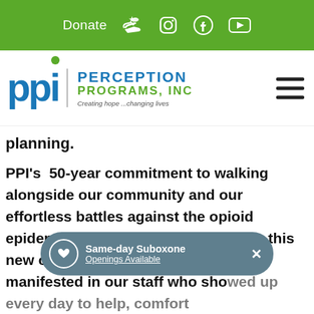Donate  [donate icon]  [Instagram icon]  [Facebook icon]  [YouTube icon]
[Figure (logo): PPI Perception Programs, Inc. logo with tagline 'Creating hope ... changing lives' and hamburger menu icon]
planning.
PPI's  50-year commitment to walking alongside our community and our effortless battles against the opioid epidemic suddenly ignited to take on this new challenge.  Our commitment was manifested in our staff who showed up every day to help, comfort and smile with our residents in our residential
Same-day Suboxone Openings Available